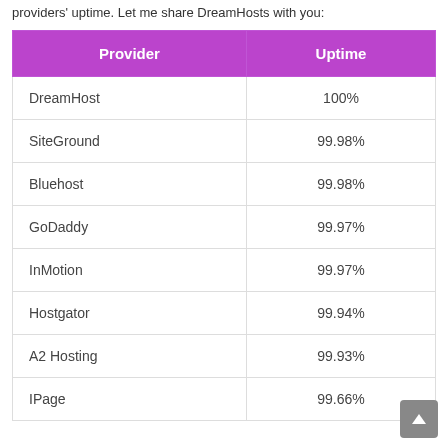providers' uptime. Let me share DreamHosts with you:
| Provider | Uptime |
| --- | --- |
| DreamHost | 100% |
| SiteGround | 99.98% |
| Bluehost | 99.98% |
| GoDaddy | 99.97% |
| InMotion | 99.97% |
| Hostgator | 99.94% |
| A2 Hosting | 99.93% |
| IPage | 99.66% |